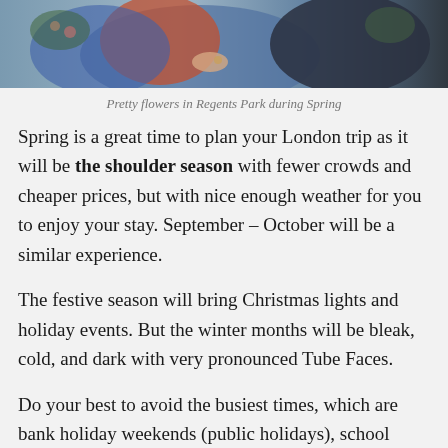[Figure (photo): Photo of people in Regents Park during Spring, showing colourful clothing with flowers visible]
Pretty flowers in Regents Park during Spring
Spring is a great time to plan your London trip as it will be the shoulder season with fewer crowds and cheaper prices, but with nice enough weather for you to enjoy your stay. September – October will be a similar experience.
The festive season will bring Christmas lights and holiday events. But the winter months will be bleak, cold, and dark with very pronounced Tube Faces.
Do your best to avoid the busiest times, which are bank holiday weekends (public holidays), school breaks, and July and August. US school breaks will be mostly different to the UK, which could work in